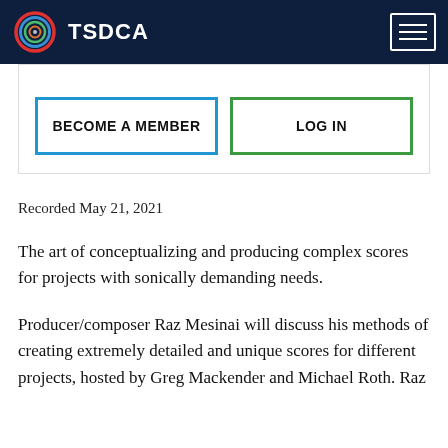TSDCA
BECOME A MEMBER   LOG IN
Recorded May 21, 2021
The art of conceptualizing and producing complex scores for projects with sonically demanding needs.
Producer/composer Raz Mesinai will discuss his methods of creating extremely detailed and unique scores for different projects, hosted by Greg Mackender and Michael Roth. Raz